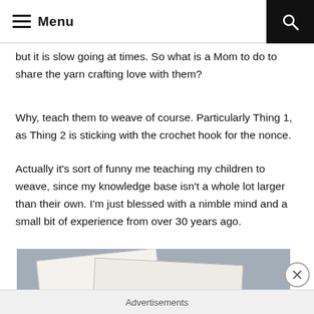Menu
but it is slow going at times.  So what is a Mom to do to share the yarn crafting love with them?
Why, teach them to weave of course. Particularly Thing 1, as Thing 2 is sticking with the crochet hook for the nonce.
Actually it's sort of funny me teaching my children to weave, since my knowledge base isn't a whole lot larger than their own. I'm just blessed with a nimble mind and a small bit of experience from over 30 years ago.
[Figure (photo): Photo of cardboard or wooden weaving loom pieces lying on a grey carpet surface]
Advertisements